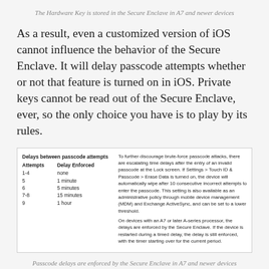The Hardware Key is stored in the Secure Enclave in A7 and newer devices
As a result, even a customized version of iOS cannot influence the behavior of the Secure Enclave. It will delay passcode attempts whether or not that feature is turned on in iOS. Private keys cannot be read out of the Secure Enclave, ever, so the only choice you have is to play by its rules.
| Attempts | Delay Enforced |
| --- | --- |
| 1-4 | none |
| 5 | 1 minute |
| 6 | 5 minutes |
| 7-8 | 15 minutes |
| 9 | 1 hour |
Passcode delays are enforced by the Secure Enclave in A7 and newer devices